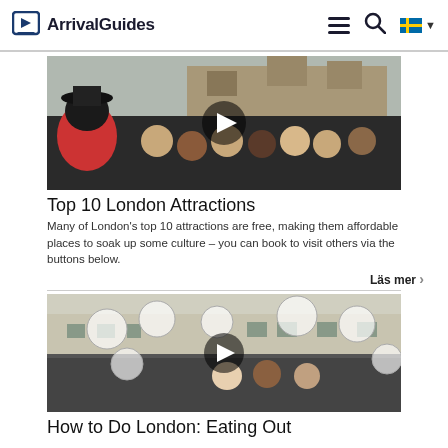ArrivalGuides
[Figure (photo): Video thumbnail showing a Beefeater guard speaking to a crowd of tourists in front of the Tower of London, with a play button overlay.]
Top 10 London Attractions
Many of London's top 10 attractions are free, making them affordable places to soak up some culture – you can book to visit others via the buttons below.
Läs mer ›
[Figure (photo): Video thumbnail showing people on a London street with floating food and product images overlaid, with a play button in the center.]
How to Do London: Eating Out